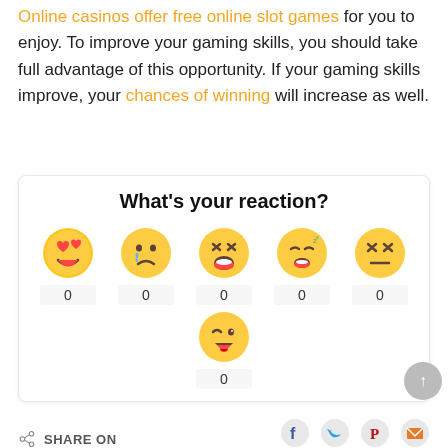Online casinos offer free online slot games for you to enjoy. To improve your gaming skills, you should take full advantage of this opportunity. If your gaming skills improve, your chances of winning will increase as well.
[Figure (infographic): Reaction widget with title 'What's your reaction?' and 6 emoji faces (love, sad, funny/LOL, sleepy, dizzy/dead, wink/tongue), each showing a count of 0]
SHARE ON